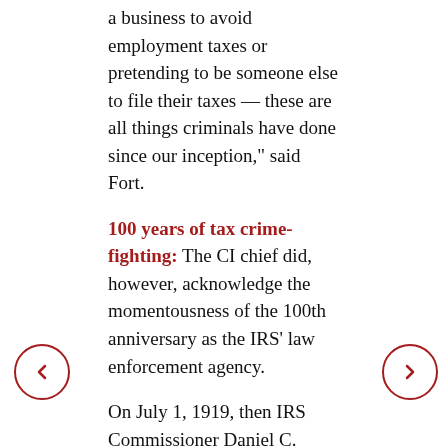a business to avoid employment taxes or pretending to be someone else to file their taxes — these are all things criminals have done since our inception," said Fort.
100 years of tax crime-fighting: The CI chief did, however, acknowledge the momentousness of the 100th anniversary as the IRS' law enforcement agency.
On July 1, 1919, then IRS Commissioner Daniel C. Roper created the Intelligence Unit to investigate widespread allegations of tax fraud. If was manned (yes, all men back then) by six United States Post Office Inspectors who were transferred to the IRS to form the new unit. It officially was renamed CI in 1978.
The unit has had a lot of success over the last century, but CI's first national attention and